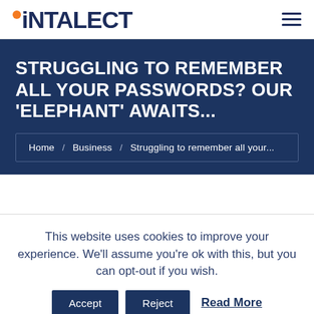iNTALECT
STRUGGLING TO REMEMBER ALL YOUR PASSWORDS? OUR 'ELEPHANT' AWAITS...
Home / Business / Struggling to remember all your...
This website uses cookies to improve your experience. We'll assume you're ok with this, but you can opt-out if you wish.
Accept  Reject  Read More